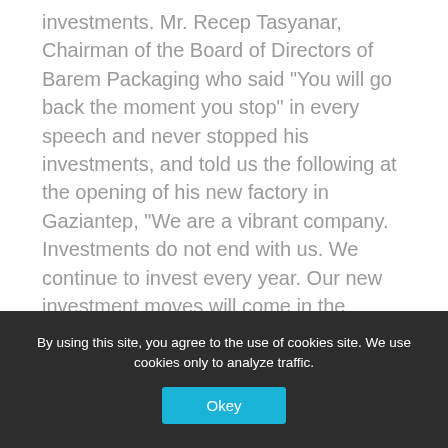investments. Mr. Recep Tasyanar, Chairman of the Board of Directors of Barem Packaging who said "You will go back the moment you stop" in every speech and never stopped his investments, and told us the following at the opening of his new factory in Gaziantep, "We are a vibrant company. Investments do not end with us. We continue to invest every year. Our new investment moves will come in the coming days. We will invest in large size offset printing machine and cutting machines".
The company which produces cardboard an
By using this site, you agree to the use of cookies site. We use cookies only to analyze traffic.